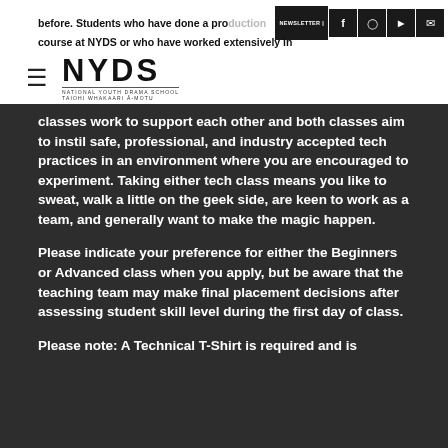before. Students who have done a production course at NYDS or who have worked extensively in
[Figure (logo): NYDS - National Youth Drama School / Taiohi Whakaari A-Motu logo with hamburger menu icon]
classes work to support each other and both classes aim to instil safe, professional, and industry accepted tech practices in an environment where you are encouraged to experiment. Taking either tech class means you like to sweat, walk a little on the geek side, are keen to work as a team, and generally want to make the magic happen.
Please indicate your preference for either the Beginners or Advanced class when you apply, but be aware that the teaching team may make final placement decisions after assessing student skill level during the first day of class.
Please note: A Technical T-Shirt is required and is